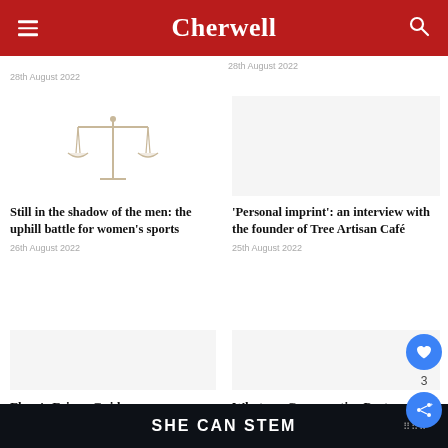Cherwell
28th August 2022
28th August 2022
[Figure (illustration): Balance scales icon in light grey/beige tones]
Still in the shadow of the men: the uphill battle for women's sports
26th August 2022
'Personal imprint': an interview with the founder of Tree Artisan Café
25th August 2022
Flora's Fringe Guide
What are Conservative Party Members thinking?